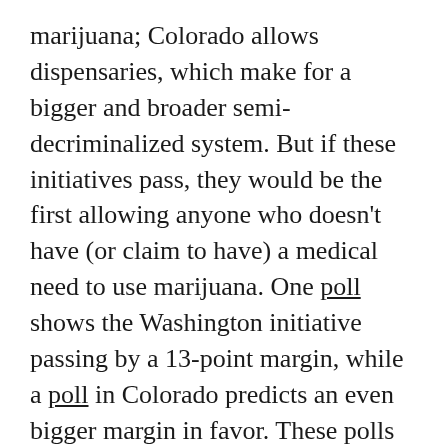marijuana; Colorado allows dispensaries, which make for a bigger and broader semi-decriminalized system. But if these initiatives pass, they would be the first allowing anyone who doesn't have (or claim to have) a medical need to use marijuana. One poll shows the Washington initiative passing by a 13-point margin, while a poll in Colorado predicts an even bigger margin in favor. These polls should be read skeptically, but they suggest the strong possibility that at least one of these initiatives could succeed.
If that happens, it will raise a whole slew of questions for the country about personal liberty, the costs of the drug war, and the relationship between the federal government and the states. But the momentum is clearly with those who would ease or remove restrictions...